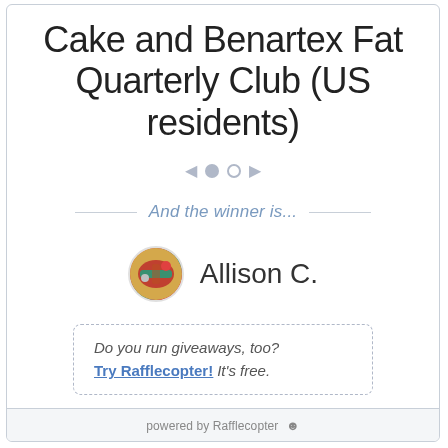Cake and Benartex Fat Quarterly Club (US residents)
[Figure (other): Slideshow navigation controls: left arrow, filled circle dot, empty circle dot, right arrow]
And the winner is...
[Figure (photo): Circular avatar photo showing a colorful sewing-themed image, representing winner Allison C.]
Allison C.
Do you run giveaways, too? Try Rafflecopter! It's free.
powered by Rafflecopter